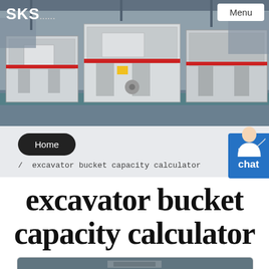[Figure (photo): Industrial machinery/crushers in a factory setting with grey steel equipment visible]
SKS
Menu
Home
/ excavator bucket capacity calculator
excavator bucket capacity calculator
[Figure (photo): Partial view of excavator bucket equipment photo inside article box]